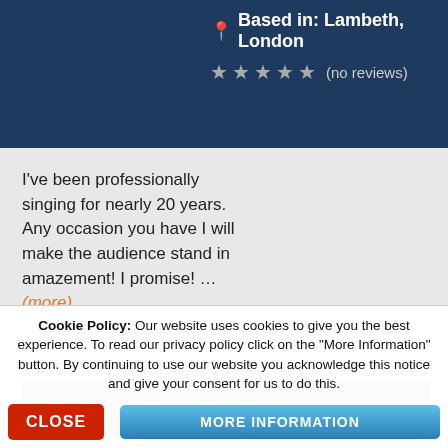Based in: Lambeth, London
★★★★★ (no reviews)
I've been professionally singing for nearly 20 years. Any occasion you have I will make the audience stand in amazement! I promise! … (more)
View Full Profile
Request a Quote
Cookie Policy: Our website uses cookies to give you the best experience. To read our privacy policy click on the "More Information" button. By continuing to use our website you acknowledge this notice and give your consent for us to do this.
CLOSE
MORE INFORMATION